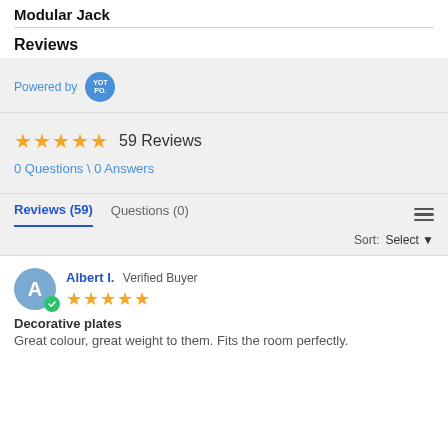Modular Jack
Reviews
Powered by YOTPO
★★★★★ 59 Reviews
0 Questions \ 0 Answers
Reviews (59)   Questions (0)
Sort: Select
Albert I. Verified Buyer ★★★★★
Decorative plates
Great colour, great weight to them. Fits the room perfectly.